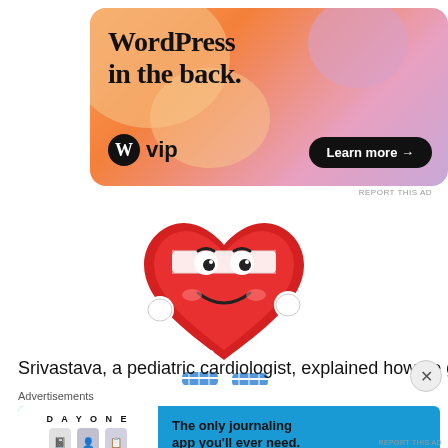[Figure (illustration): WordPress VIP advertisement banner with orange-pink gradient background, large bold text 'WordPress in the back.' with WordPress VIP logo and 'Learn more →' button]
[Figure (illustration): Cartoon animated running heart character with white bandana/headband, white gloves and blue sneakers, smiling face]
Srivastava, a pediatric cardiologist, explained how he got
Advertisements
[Figure (illustration): Day One journaling app advertisement on blue background with text 'The only journaling app you'll ever need.']